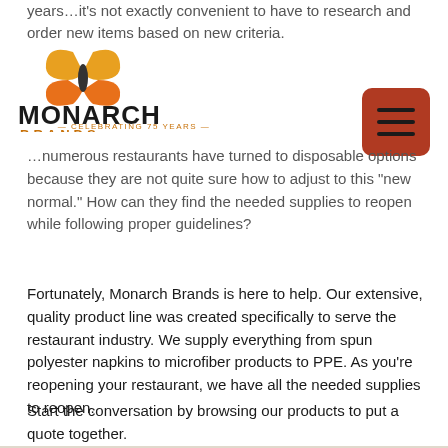years…it's not exactly convenient to have to research and order new items based on new criteria.
[Figure (logo): Monarch Brands logo with orange/yellow butterfly icon and text 'MONARCH BRANDS — CELEBRATING 75 YEARS —']
…numerous restaurants have turned to disposable options because they are not quite sure how to adjust to this "new normal." How can they find the needed supplies to reopen while following proper guidelines?
Fortunately, Monarch Brands is here to help. Our extensive, quality product line was created specifically to serve the restaurant industry. We supply everything from spun polyester napkins to microfiber products to PPE. As you're reopening your restaurant, we have all the needed supplies to reopen.
Start the conversation by browsing our products to put a quote together.